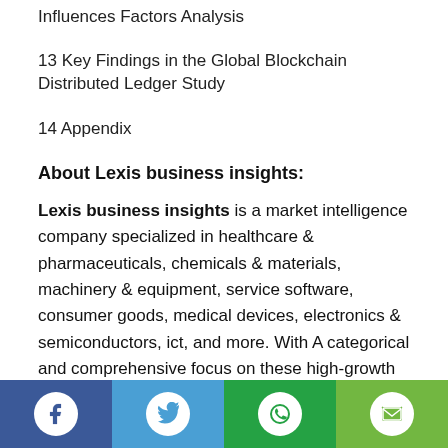Influences Factors Analysis
13 Key Findings in the Global Blockchain Distributed Ledger Study
14 Appendix
About Lexis business insights:
Lexis business insights is a market intelligence company specialized in healthcare & pharmaceuticals, chemicals & materials, machinery & equipment, service software, consumer goods, medical devices, electronics & semiconductors, ict, and more. With A categorical and comprehensive focus on these high-growth industries our
Social media share icons: Facebook, Twitter, WhatsApp, Email